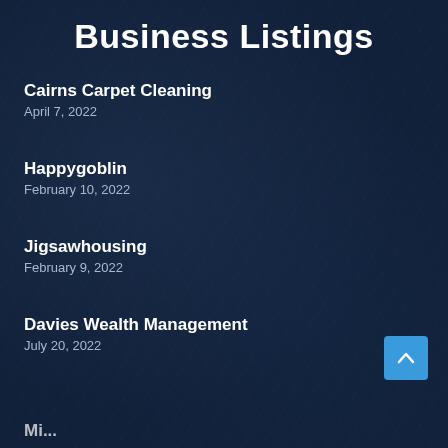Business Listings
Cairns Carpet Cleaning
April 7, 2022
Happygoblin
February 10, 2022
Jigsawhousing
February 9, 2022
Davies Wealth Management
July 20, 2022